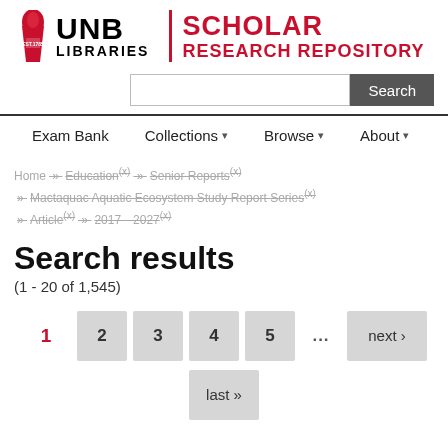[Figure (logo): UNB Libraries Scholar Research Repository logo with flame icon, black UNB LIBRARIES text, red vertical divider, and red SCHOLAR RESEARCH REPOSITORY text]
[Figure (screenshot): Search input box and Search button]
Exam Bank   Collections▾   Browse▾   About▾
Home » Education(x) » Senior Reports(x) » Mactaquac Aquatic Ecosystem Study Report Series(x) » Article(x) » 2017—2027(x)
Search results
(1 - 20 of 1,545)
1   2   3   4   5   ...   next ›   last »